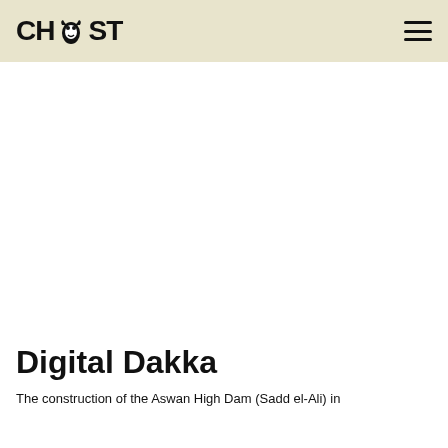CHEST (logo) — navigation menu
Digital Dakka
The construction of the Aswan High Dam (Sadd el-Ali) in